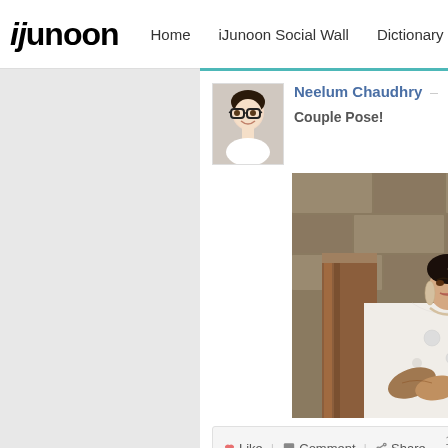iJunoon | Home | iJunoon Social Wall | Dictionary | Translate | Transli...
[Figure (photo): Profile avatar photo of Neelum Chaudhry - young woman with glasses]
Neelum Chaudhry
Couple Pose!
[Figure (photo): Bride in white embellished wedding dress with heavy jewelry, holding hands with groom, stone wall background]
Like  Comment  Share  1 Like
Category:  men